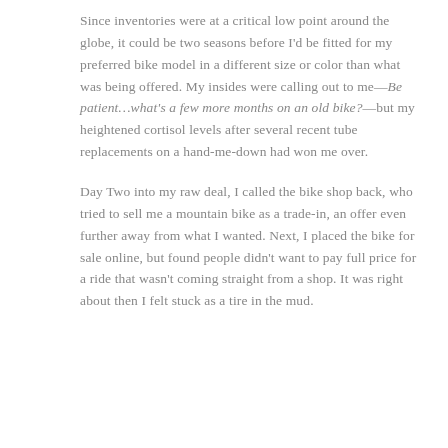Since inventories were at a critical low point around the globe, it could be two seasons before I'd be fitted for my preferred bike model in a different size or color than what was being offered. My insides were calling out to me—Be patient…what's a few more months on an old bike?—but my heightened cortisol levels after several recent tube replacements on a hand-me-down had won me over.
Day Two into my raw deal, I called the bike shop back, who tried to sell me a mountain bike as a trade-in, an offer even further away from what I wanted. Next, I placed the bike for sale online, but found people didn't want to pay full price for a ride that wasn't coming straight from a shop. It was right about then I felt stuck as a tire in the mud.